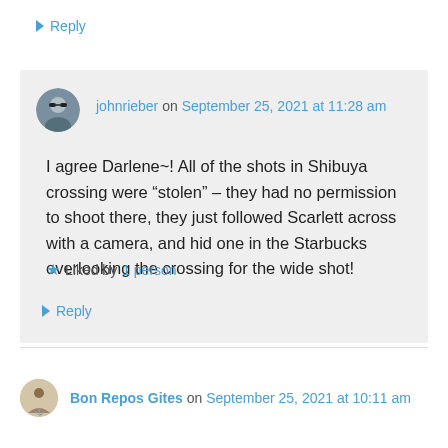↳ Reply
johnrieber on September 25, 2021 at 11:28 am
I agree Darlene~! All of the shots in Shibuya crossing were “stolen” – they had no permission to shoot there, they just followed Scarlett across with a camera, and hid one in the Starbucks overlooking the crossing for the wide shot!
★ Liked by 1 person
↳ Reply
Bon Repos Gites on September 25, 2021 at 10:11 am